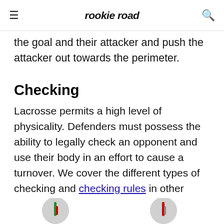rookie road
the goal and their attacker and push the attacker out towards the perimeter.
Checking
Lacrosse permits a high level of physicality. Defenders must possess the ability to legally check an opponent and use their body in an effort to cause a turnover. We cover the different types of checking and checking rules in other lessons.
[Figure (photo): Two circular thumbnail images at the bottom of the page, partially visible, with colored vertical bar indicators (green and red).]